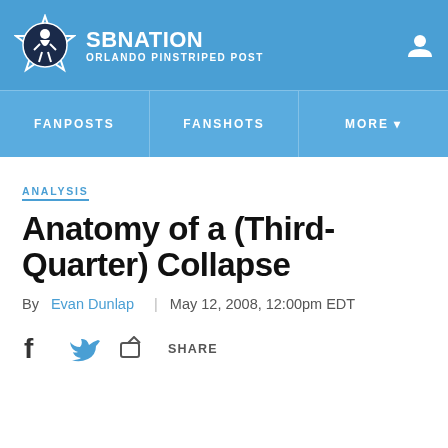SB NATION — ORLANDO PINSTRIPED POST
FANPOSTS | FANSHOTS | MORE
ANALYSIS
Anatomy of a (Third-Quarter) Collapse
By Evan Dunlap | May 12, 2008, 12:00pm EDT
SHARE